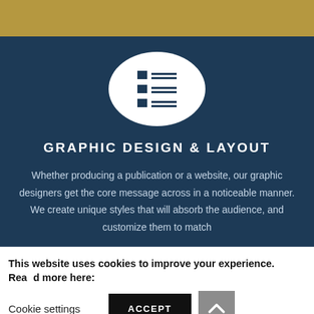[Figure (illustration): Gold/tan horizontal decorative bar at the top of the page]
[Figure (illustration): White circle icon on dark navy background containing a list/document icon with blue squares and horizontal lines representing graphic design]
GRAPHIC DESIGN & LAYOUT
Whether producing a publication or a website, our graphic designers get the core message across in a noticeable manner. We create unique styles that will absorb the audience, and customize them to match
This website uses cookies to improve your experience. Read more here:
Cookie settings
ACCEPT